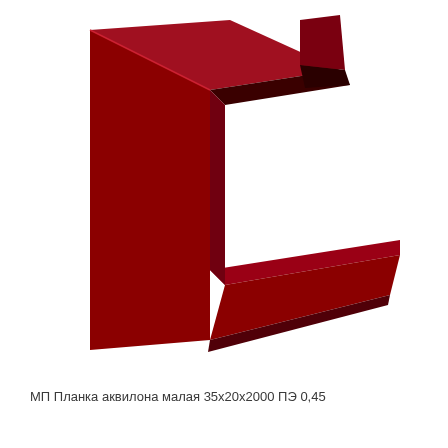[Figure (photo): Photo of a dark red/burgundy colored metal corner trim piece (МП Планка аквилона малая) showing an L-shaped bracket profile with an angled flange, viewed at a perspective angle against a white background.]
МП Планка аквилона малая 35х20х2000 ПЭ 0,45